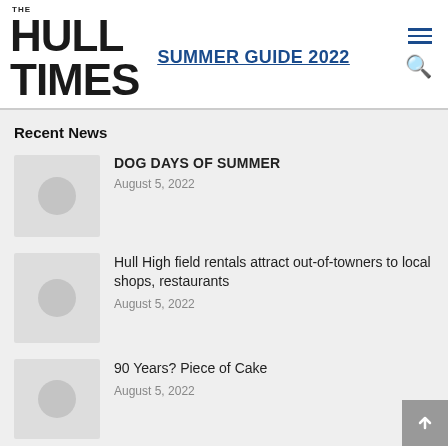THE HULL TIMES — SUMMER GUIDE 2022
Recent News
DOG DAYS OF SUMMER
August 5, 2022
Hull High field rentals attract out-of-towners to local shops, restaurants
August 5, 2022
90 Years? Piece of Cake
August 5, 2022